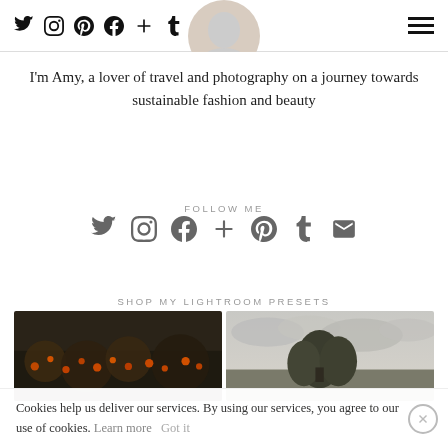Social media icons nav bar with Twitter, Instagram, Pinterest, Facebook, Plus, Tumblr and hamburger menu
I'm Amy, a lover of travel and photography on a journey towards sustainable fashion and beauty
FOLLOW ME
[Figure (infographic): Row of social media icons: Twitter, Instagram, Facebook, Plus, Pinterest, Tumblr, Email — in dark grey]
SHOP MY LIGHTROOM PRESETS
[Figure (photo): Two side-by-side product photos: left shows dark moody flowers with orange berries, right shows trees against a grey sky]
Cookies help us deliver our services. By using our services, you agree to our use of cookies. Learn more  Got it